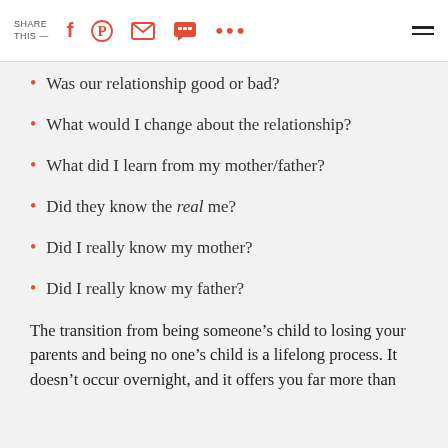SHARE THIS —
Was our relationship good or bad?
What would I change about the relationship?
What did I learn from my mother/father?
Did they know the real me?
Did I really know my mother?
Did I really know my father?
The transition from being someone’s child to losing your parents and being no one’s child is a lifelong process. It doesn’t occur overnight, and it offers you far more than